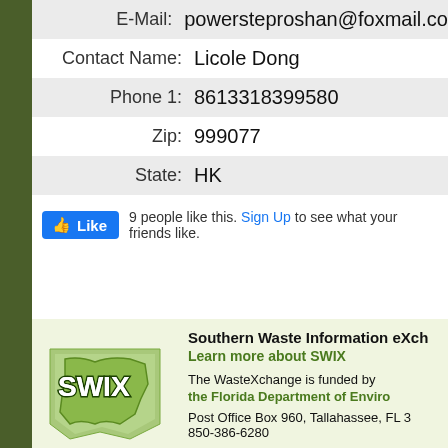| Field | Value |
| --- | --- |
| E-Mail: | powersteproshan@foxmail.co |
| Contact Name: | Licole Dong |
| Phone 1: | 8613318399580 |
| Zip: | 999077 |
| State: | HK |
[Figure (screenshot): Facebook Like button widget showing '9 people like this. Sign Up to see what your friends like.']
[Figure (logo): SWIX (Southern Waste Information eXchange) logo — green map of southeastern US states with SWIX text]
Southern Waste Information eXchange
Learn more about SWIX
The WasteXchange is funded by
the Florida Department of Enviro
Post Office Box 960, Tallahassee, FL 3
850-386-6280